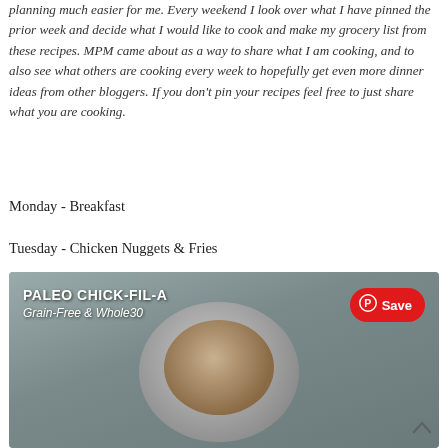planning much easier for me. Every weekend I look over what I have pinned the prior week and decide what I would like to cook and make my grocery list from these recipes. MPM came about as a way to share what I am cooking, and to also see what others are cooking every week to hopefully get even more dinner ideas from other bloggers. If you don't pin your recipes feel free to just share what you are cooking.
Monday - Breakfast
Tuesday - Chicken Nuggets & Fries
[Figure (photo): Photo of a bowl/plate on a baking sheet with text overlay reading 'PALEO CHICK-FIL-A Grain-Free & Whole30' and a Pinterest Save button in the top right corner.]